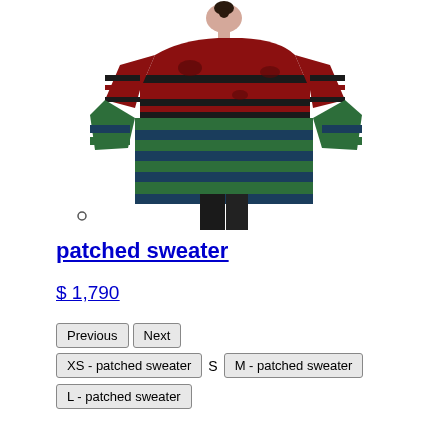[Figure (photo): Back view of a model wearing an oversized striped patched sweater. The sweater has red at the top with black horizontal stripes, transitioning to green and dark blue/navy stripes in the lower half. The model has dark hair in a bun and wears black pants.]
patched sweater
$ 1,790
Previous
Next
XS - patched sweater
S
M - patched sweater
L - patched sweater